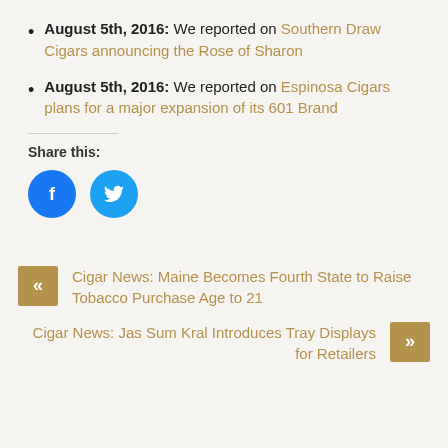August 5th, 2016: We reported on Southern Draw Cigars announcing the Rose of Sharon
August 5th, 2016: We reported on Espinosa Cigars plans for a major expansion of its 601 Brand
Share this:
[Figure (illustration): Facebook and Twitter share buttons as blue circles with white icons]
« Cigar News: Maine Becomes Fourth State to Raise Tobacco Purchase Age to 21
Cigar News: Jas Sum Kral Introduces Tray Displays for Retailers »